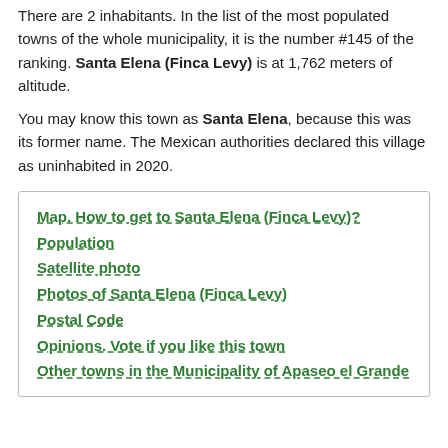There are 2 inhabitants. In the list of the most populated towns of the whole municipality, it is the number #145 of the ranking. Santa Elena (Finca Levy) is at 1,762 meters of altitude.
You may know this town as Santa Elena, because this was its former name. The Mexican authorities declared this village as uninhabited in 2020.
Map. How to get to Santa Elena (Finca Levy)?
Population
Satellite photo
Photos of Santa Elena (Finca Levy)
Postal Code
Opinions. Vote if you like this town
Other towns in the Municipality of Apaseo el Grande